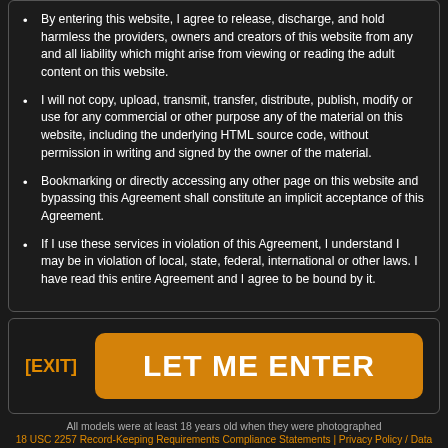By entering this website, I agree to release, discharge, and hold harmless the providers, owners and creators of this website from any and all liability which might arise from viewing or reading the adult content on this website.
I will not copy, upload, transmit, transfer, distribute, publish, modify or use for any commercial or other purpose any of the material on this website, including the underlying HTML source code, without permission in writing and signed by the owner of the material.
Bookmarking or directly accessing any other page on this website and bypassing this Agreement shall constitute an implicit acceptance of this Agreement.
If I use these services in violation of this Agreement, I understand I may be in violation of local, state, federal, international or other laws. I have read this entire Agreement and I agree to be bound by it.
[EXIT]
LET ME ENTER
All models were at least 18 years old when they were photographed
18 USC 2257 Record-Keeping Requirements Compliance Statements | Privacy Policy / Data Protection | Help/ Customer Service